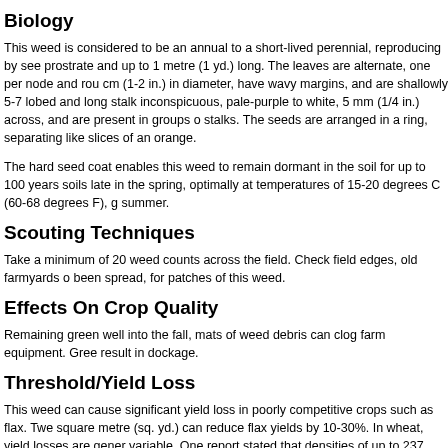Biology
This weed is considered to be an annual to a short-lived perennial, reproducing by see prostrate and up to 1 metre (1 yd.) long. The leaves are alternate, one per node and rou cm (1-2 in.) in diameter, have wavy margins, and are shallowly 5-7 lobed and long stalk inconspicuous, pale-purple to white, 5 mm (1/4 in.) across, and are present in groups o stalks. The seeds are arranged in a ring, separating like slices of an orange.
The hard seed coat enables this weed to remain dormant in the soil for up to 100 years soils late in the spring, optimally at temperatures of 15-20 degrees C (60-68 degrees F), g summer.
Scouting Techniques
Take a minimum of 20 weed counts across the field. Check field edges, old farmyards o been spread, for patches of this weed.
Effects On Crop Quality
Remaining green well into the fall, mats of weed debris can clog farm equipment. Gree result in dockage.
Threshold/Yield Loss
This weed can cause significant yield loss in poorly competitive crops such as flax. Twe square metre (sq. yd.) can reduce flax yields by 10-30%. In wheat, yield losses are gener variable. One report stated that densities of up to 237 plants per square metre (sq. yd.)